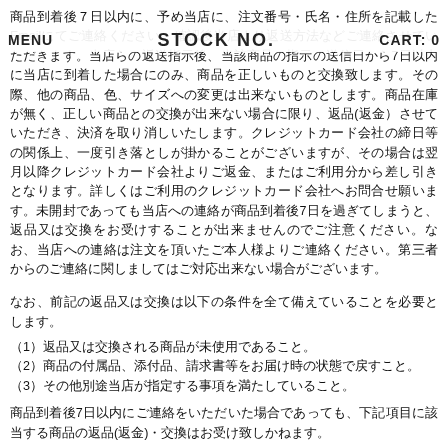MENU   STOCK NO.   CART: 0
商品到着後７日以内に、予め当店に、注文番号・氏名・住所を記載したEmailにてご連絡ください。確認後当店より返送方法などご連絡させていただきます。当店らの返送指示後、当該商品の指示の送信日から7日以内に当店に到着した場合にのみ、商品を正しいものと交換致します。その際、他の商品、色、サイズへの変更は出来ないものとします。商品在庫が無く、正しい商品との交換が出来ない場合に限り、返品(返金）させていただき、決済を取り消しいたします。クレジットカード会社の締日等の関係上、一度引き落としが掛かることがございますが、その場合は翌月以降クレジットカード会社よりご返金、またはご利用分から差し引きとなります。詳しくはご利用のクレジットカード会社へお問合せ願います。未開封であっても当店への連絡が商品到着後7日を過ぎてしまうと、返品又は交換をお受けすることが出来ませんのでご注意ください。なお、当店への連絡は注文を頂いたご本人様よりご連絡ください。第三者からのご連絡に関しましてはご対応出来ない場合がございます。
なお、前記の返品又は交換は以下の条件を全て備えていることを必要とします。
（1）返品又は交換される商品が未使用であること。
（2）商品の付属品、添付品、請求書等をお届け時の状態で戻すこと。
（3）その他別途当店が指定する事項を満たしていること。
商品到着後7日以内にご連絡をいただいた場合であっても、下記項目に該当する商品の返品(返金)・交換はお受け致しかねます。
（1）1度でもご使用になられた商品。
（2）お客様の過失による商品の汚損・破損の生じた商品。
（3）お客様が加工されカスタマイズされた商品、又は修理若しくはクリーニングされた商品。
（4）商品パッケージ等を汚損・破損・紛失・破棄された場合。